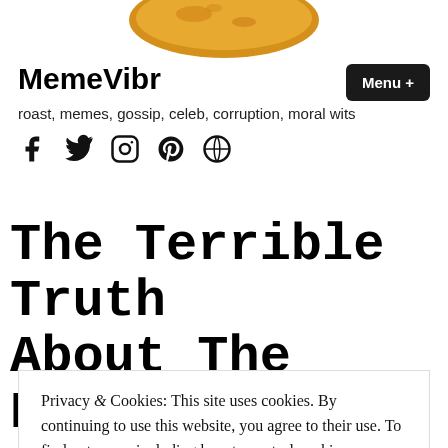[Figure (photo): Partial view of a round bread bun or cookie at the top of the page]
MemeVibr
roast, memes, gossip, celeb, corruption, moral wits
[Figure (infographic): Social media icons: Facebook, Twitter, Instagram, Pinterest, WordPress]
Menu +
The Terrible Truth About The Black And
Privacy & Cookies: This site uses cookies. By continuing to use this website, you agree to their use. To find out more, including how to control cookies, see here: Cookie Policy
Close and accept